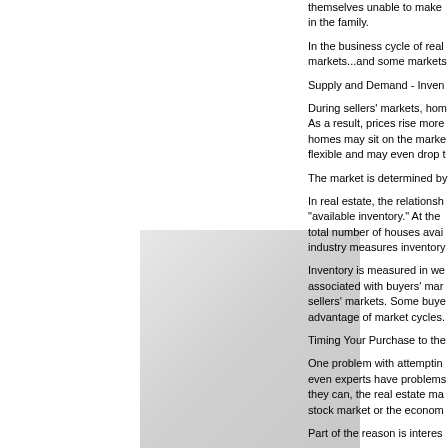[Figure (photo): Light gray rectangular image placeholder, possibly a property or interior photo]
themselves unable to make in the family.
In the business cycle of real markets...and some markets
Supply and Demand - Inven
During sellers' markets, hom As a result, prices rise more homes may sit on the marke flexible and may even drop t
The market is determined by
In real estate, the relationsh "available inventory." At the total number of houses avai industry measures inventory
Inventory is measured in we associated with buyers' mar sellers' markets. Some buye advantage of market cycles.
Timing Your Purchase to the
One problem with attemptin even experts have problems they can, the real estate ma stock market or the econom
Part of the reason is interes